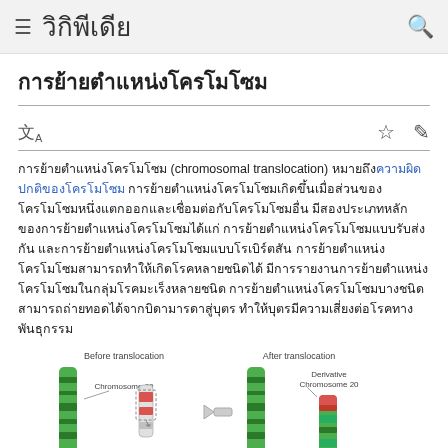วิกิพีเดีย
การย้ายตำแหน่งโครโมโซม
การย้ายตำแหน่งโครโมโซม (chromosomal translocation) หมายถึงความผิดปกติของโครโมโซม การย้ายตำแหน่งโครโมโซมเกิดขึ้นเมื่อส่วนของโครโมโซมหนึ่งแตกออกและเชื่อมต่อกับโครโมโซมอื่น มีสองประเภทหลักของการย้ายตำแหน่งโครโมโซมได้แก่ การย้ายตำแหน่งโครโมโซมแบบรับส่งกัน และการย้ายตำแหน่งโครโมโซมแบบโรเบิร์ตสัน การย้ายตำแหน่งโครโมโซมสามารถทำให้เกิดโรคหลายชนิดได้
[Figure (illustration): Diagram showing chromosomal translocation: Before translocation (Chromosome 20 highlighted in red/green) and After translocation (Derivative Chromosome 20), with an arrow indicating the change.]